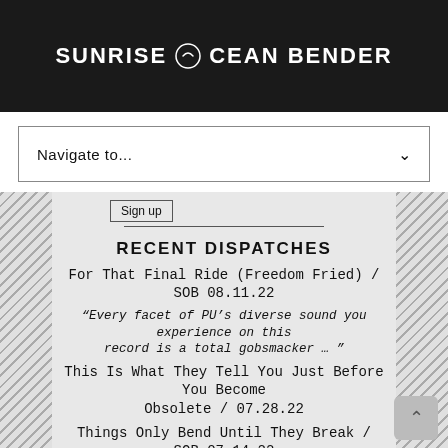SUNRISE OCEAN BENDER
Navigate to...
Sign up
RECENT DISPATCHES
For That Final Ride (Freedom Fried) / SOB 08.11.22
“Every facet of PU’s diverse sound you experience on this record is a total gobsmacker … ”
This Is What They Tell You Just Before You Become Obsolete / 07.28.22
Things Only Bend Until They Break / SOB 07.14.22